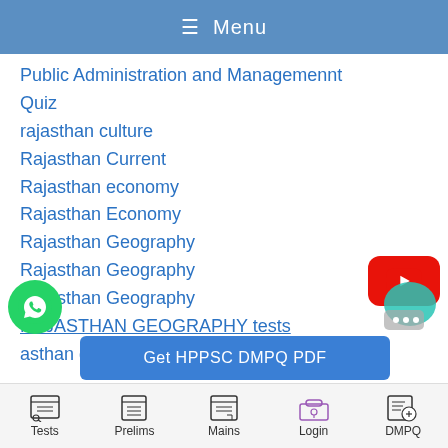☰ Menu
Public Administration and Managemennt
Quiz
rajasthan culture
Rajasthan Current
Rajasthan economy
Rajasthan Economy
Rajasthan Geography
Rajasthan Geography
Rajasthan Geography
RAJASTHAN GEOGRAPHY tests
asthan gk
Get HPPSC DMPQ PDF
Tests   Prelims   Mains   Login   DMPQ